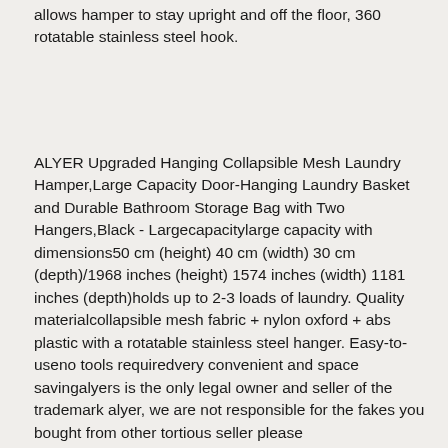allows hamper to stay upright and off the floor, 360 rotatable stainless steel hook.
ALYER Upgraded Hanging Collapsible Mesh Laundry Hamper,Large Capacity Door-Hanging Laundry Basket and Durable Bathroom Storage Bag with Two Hangers,Black - Largecapacitylarge capacity with dimensions50 cm (height) 40 cm (width) 30 cm (depth)/1968 inches (height) 1574 inches (width) 1181 inches (depth)holds up to 2-3 loads of laundry. Quality materialcollapsible mesh fabric + nylon oxford + abs plastic with a rotatable stainless steel hanger. Easy-to-useno tools requiredvery convenient and space savingalyers is the only legal owner and seller of the trademark alyer, we are not responsible for the fakes you bought from other tortious seller please